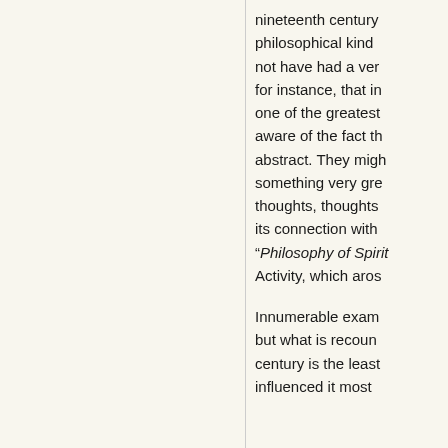nineteenth century philosophical kind not have had a ver for instance, that in one of the greatest aware of the fact th abstract. They migh something very gre thoughts, thoughts its connection with “Philosophy of Spirit Activity, which aros
Innumerable exam but what is recoun century is the least influenced it most